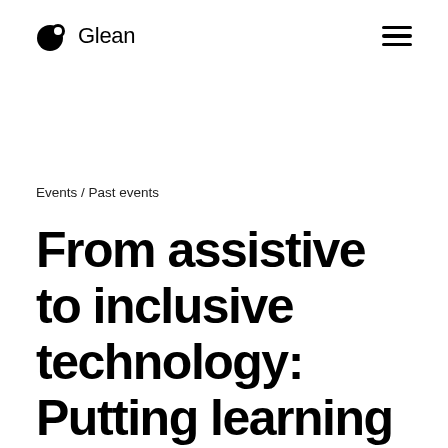Glean
Events / Past events
From assistive to inclusive technology: Putting learning first with Glean